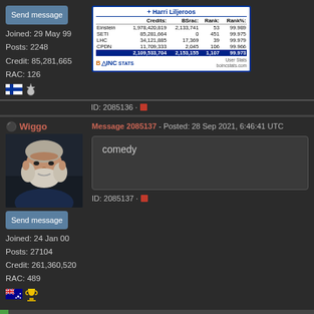Send message
Joined: 29 May 99
Posts: 2248
Credit: 85,281,665
RAC: 126
[Figure (table-as-image): BOINCstats widget for Harri Liljeroos showing credits across Einstein, SETI, LHC, CPDN projects with total 2,109,533,704 credits, BSrac 2,153,155, Rank 1,107, Rank% 99.973]
ID: 2085136 ·
Wiggo
Send message
Joined: 24 Jan 00
Posts: 27104
Credit: 261,360,520
RAC: 489
Message 2085137 - Posted: 28 Sep 2021, 6:46:41 UTC
comedy
ID: 2085137 ·